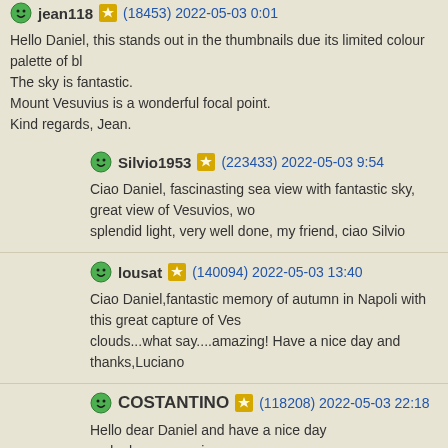jean118 (18453) 2022-05-03 0:01
Hello Daniel, this stands out in the thumbnails due its limited colour palette of bl...
The sky is fantastic.
Mount Vesuvius is a wonderful focal point.
Kind regards, Jean.
Silvio1953 (223433) 2022-05-03 9:54
Ciao Daniel, fascinasting sea view with fantastic sky, great view of Vesuvios, wo... splendid light, very well done, my friend, ciao Silvio
lousat (140094) 2022-05-03 13:40
Ciao Daniel,fantastic memory of autumn in Napoli with this great capture of Ves... clouds...what say....amazing! Have a nice day and thanks,Luciano
COSTANTINO (118208) 2022-05-03 22:18
Hello dear Daniel and have a nice day and a happy evening amazing blue photo!!! I like this amazing blue sea and the sky!!!!